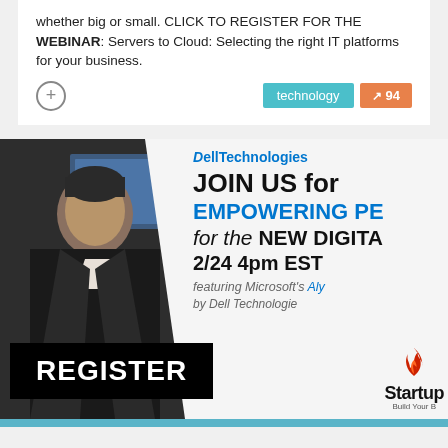whether big or small. CLICK TO REGISTER FOR THE WEBINAR: Servers to Cloud: Selecting the right IT platforms for your business.
[Figure (screenshot): Dell Technologies webinar advertisement banner featuring a person in a suit on the left and text on the right: JOIN US for EMPOWERING PE for the NEW DIGITA, 2/24 4pm EST, featuring Microsoft's Aly, by Dell Technologie, with a REGISTER button and Startup logo]
technology | 94